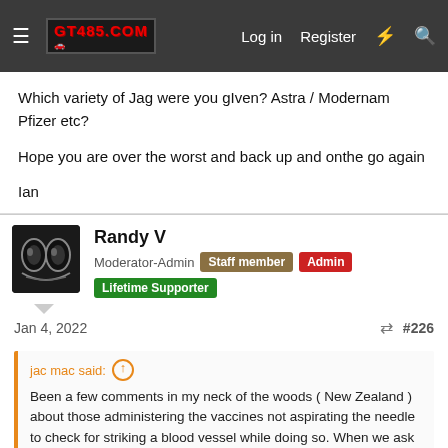GT405.COM | Log in | Register
Which variety of Jag were you gIven? Astra / Modernam Pfizer etc?

Hope you are over the worst and back up and onthe go again

Ian
Randy V
Moderator-Admin  Staff member  Admin  Lifetime Supporter
Jan 4, 2022  #226
jac mac said:
Been a few comments in my neck of the woods ( New Zealand ) about those administering the vaccines not aspirating the needle to check for striking a blood vessel while doing so. When we ask why we get a somewhat flippant answer that its not necessary. With reference to